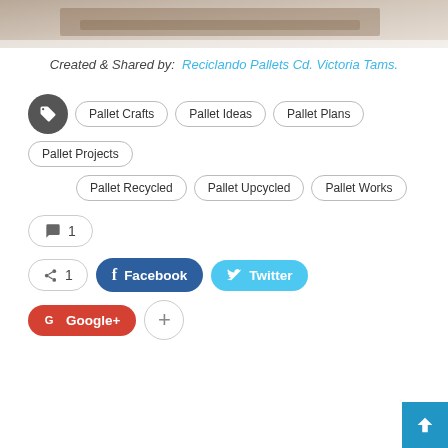[Figure (photo): Partial view of wooden pallet furniture at the top of the page]
Created & Shared by: Reciclando Pallets Cd. Victoria Tams.
Tags: Pallet Crafts, Pallet Ideas, Pallet Plans, Pallet Projects, Pallet Recycled, Pallet Upcycled, Pallet Works
1 comment
Share 1 | Facebook | Twitter | Google+